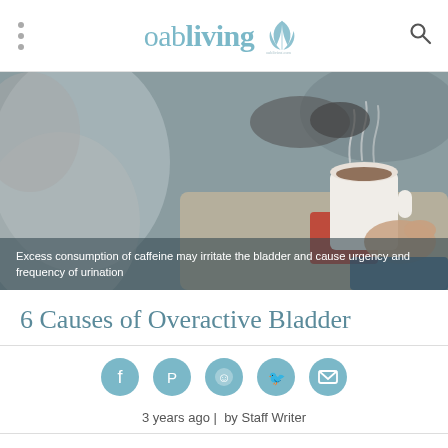oabliving
[Figure (photo): Person holding a steaming coffee mug, viewed from behind, with crossed legs resting on a surface. The image is related to caffeine consumption and bladder health.]
Excess consumption of caffeine may irritate the bladder and cause urgency and frequency of urination
6 Causes of Overactive Bladder
[Figure (infographic): Social share icons: Facebook, Pinterest, Messenger, Twitter, Email]
3 years ago |  by Staff Writer
What Causes Overactive Bladder